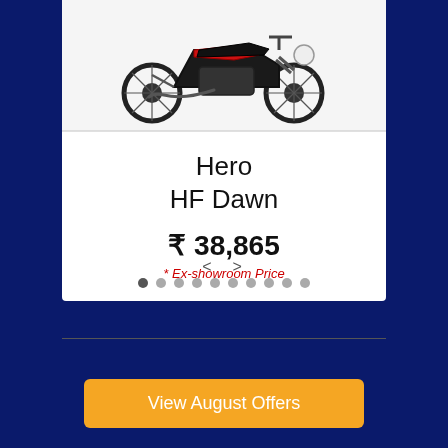[Figure (photo): Hero HF Dawn motorcycle image, side profile, red and black color, on white/light grey background]
Hero
HF Dawn
₹ 38,865
* Ex-showroom Price
< >
● ● ● ● ● ● ● ● ● ●
View August Offers